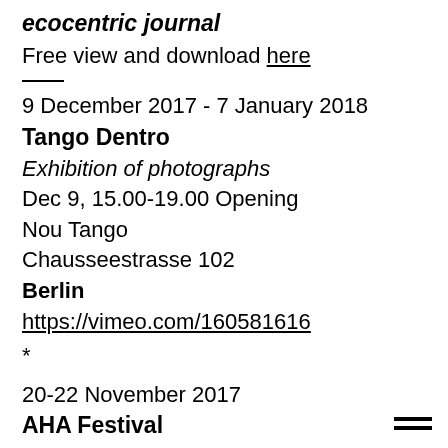ecocentric journal
Free view and download here
——
9 December 2017 - 7 January 2018
Tango Dentro
Exhibition of photographs
Dec 9, 15.00-19.00 Opening
Nou Tango
Chausseestrasse 102
Berlin
https://vimeo.com/160581616
*
20-22 November 2017
AHA Festival
Art and Science meet
21. November: Site-specific intervention (Meeting an Other)
22. November: Lecture (Mountains and Rivers are